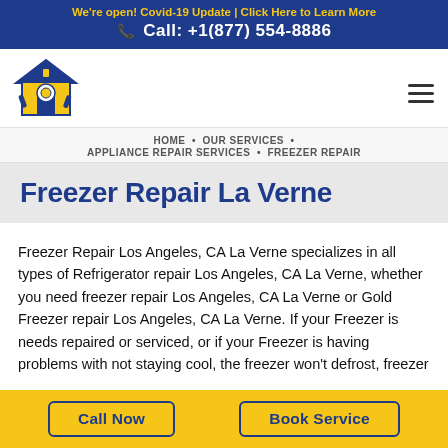We're open! Covid-19 Update | Click Here to Learn More
Call: +1(877) 554-8886
[Figure (logo): House-shaped logo with tools and gears in blue and yellow]
HOME • OUR SERVICES • APPLIANCE REPAIR SERVICES • FREEZER REPAIR
Freezer Repair La Verne
Freezer Repair Los Angeles, CA La Verne specializes in all types of Refrigerator repair Los Angeles, CA La Verne, whether you need freezer repair Los Angeles, CA La Verne or Gold Freezer repair Los Angeles, CA La Verne. If your Freezer is needs repaired or serviced, or if your Freezer is having problems with not staying cool, the freezer won't defrost, freezer
Call Now
Book Service